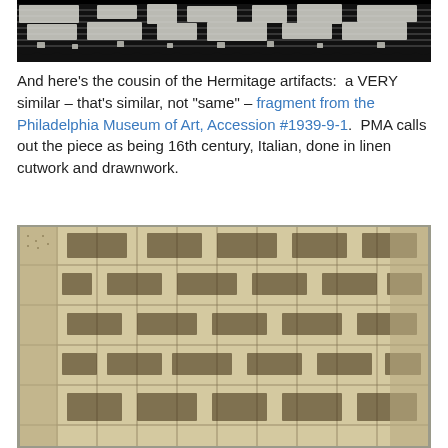[Figure (photo): Close-up photograph of white lace/needlework textile with intricate cutwork pattern against a black background. The lace has a decorative border with geometric and floral motifs.]
And here’s the cousin of the Hermitage artifacts:  a VERY similar – that’s similar, not “same” – fragment from the Philadelphia Museum of Art, Accession #1939-9-1.  PMA calls out the piece as being 16th century, Italian, done in linen cutwork and drawnwork.
[Figure (photo): Photograph of an ivory/cream colored textile fragment with geometric cutwork and drawnwork patterns in a grid-like arrangement. This is the Philadelphia Museum of Art piece, Accession #1939-9-1, 16th century Italian linen cutwork and drawnwork.]